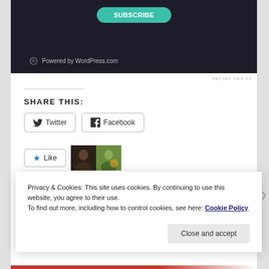[Figure (screenshot): Dark-background WordPress.com promotional banner with teal subscribe/download button and 'Powered by WordPress.com' text with logo icon at bottom left]
REPORT THIS AD
SHARE THIS:
[Figure (screenshot): Twitter and Facebook share buttons side by side with respective icons]
[Figure (screenshot): Like button with blue star icon, and two blogger avatar thumbnails shown next to it]
2 bloggers like this.
RELATED
Privacy & Cookies: This site uses cookies. By continuing to use this website, you agree to their use.
To find out more, including how to control cookies, see here: Cookie Policy
Close and accept